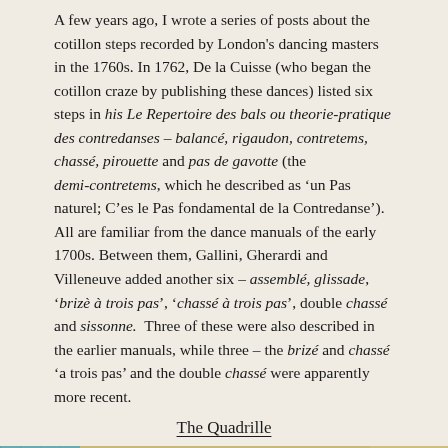A few years ago, I wrote a series of posts about the cotillon steps recorded by London's dancing masters in the 1760s. In 1762, De la Cuisse (who began the cotillon craze by publishing these dances) listed six steps in his Le Repertoire des bals ou theorie-pratique des contredanses – balancé, rigaudon, contretems, chassé, pirouette and pas de gavotte (the demi-contretems, which he described as 'un Pas naturel; C'es le Pas fondamental de la Contredanse'). All are familiar from the dance manuals of the early 1700s. Between them, Gallini, Gherardi and Villeneuve added another six – assemblé, glissade, 'brizè à trois pas', 'chassé à trois pas', double chassé and sissonne.  Three of these were also described in the earlier manuals, while three – the brizé and chassé 'a trois pas' and the double chassé were apparently more recent.
The Quadrille
[Figure (illustration): A historical illustration showing a ballroom scene, partially visible, with draped curtains on the left side and a figure on the right against a light background with architectural elements.]